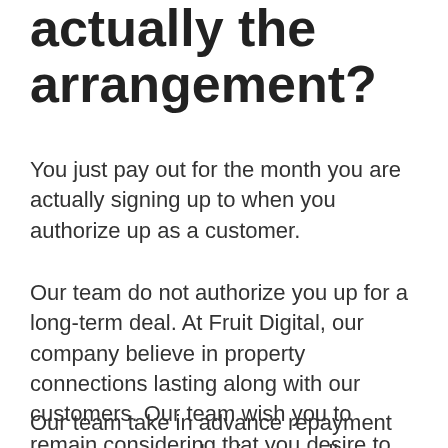actually the arrangement?
You just pay out for the month you are actually signing up to when you authorize up as a customer.
Our team do not authorize you up for a long-term deal. At Fruit Digital, our company believe in property connections lasting along with our customers. Our team wish you to remain considering that you desire to, certainly not since you are actually compelled to.
Our team take in advance repayment prior to company begins as well as our experts just ask for that you provide our team at the very